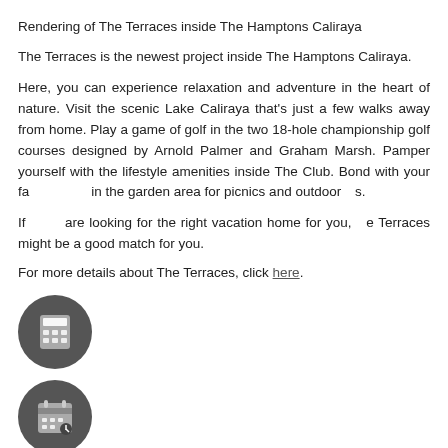Rendering of The Terraces inside The Hamptons Caliraya
The Terraces is the newest project inside The Hamptons Caliraya.
Here, you can experience relaxation and adventure in the heart of nature. Visit the scenic Lake Caliraya that's just a few walks away from home. Play a game of golf in the two 18-hole championship golf courses designed by Arnold Palmer and Graham Marsh. Pamper yourself with the lifestyle amenities inside The Club. Bond with your family in the garden area for picnics and outdoor activities.
If you are looking for the right vacation home for you, The Terraces might be a good match for you.
For more details about The Terraces, click here.